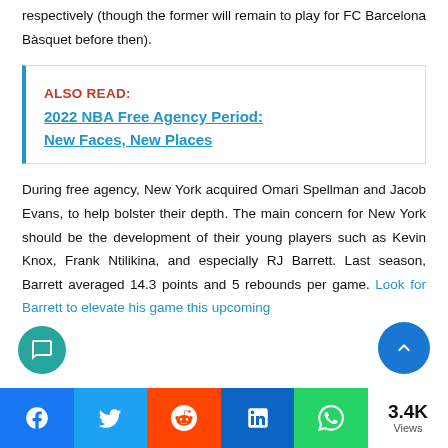respectively (though the former will remain to play for FC Barcelona Bàsquet before then).
ALSO READ:  2022 NBA Free Agency Period: New Faces, New Places
During free agency, New York acquired Omari Spellman and Jacob Evans, to help bolster their depth. The main concern for New York should be the development of their young players such as Kevin Knox, Frank Ntilikina, and especially RJ Barrett. Last season, Barrett averaged 14.3 points and 5 rebounds per game. Look for Barrett to elevate his game this upcoming
3.4K Views | Facebook | Twitter | Reddit | LinkedIn | WhatsApp